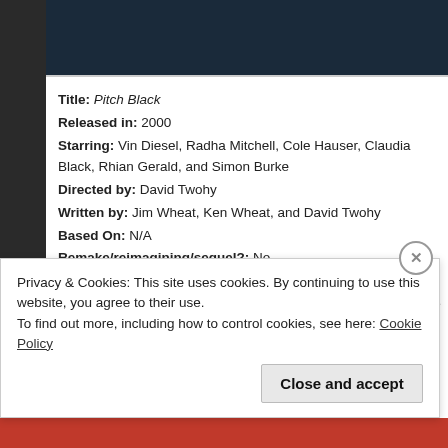[Figure (photo): Dark movie still image from Pitch Black at top of page]
Title: Pitch Black
Released in: 2000
Starring: Vin Diesel, Radha Mitchell, Cole Hauser, Claudia Black, Rhian Gerald, and Simon Burke
Directed by: David Twohy
Written by: Jim Wheat, Ken Wheat, and David Twohy
Based On: N/A
Remake/reimagining/sequel?: No
Of what?: N/A
5 Second Synopsis: A cargo ship carrying a dangerous fugitive crashes. When the sun finally goes down, though, the survivors realize that they a
Why I Love It: I can't really explain why I love this one so much. It should land-on-dangerous-planet thing, and yet just because all components we
Privacy & Cookies: This site uses cookies. By continuing to use this website, you agree to their use.
To find out more, including how to control cookies, see here: Cookie Policy
Close and accept